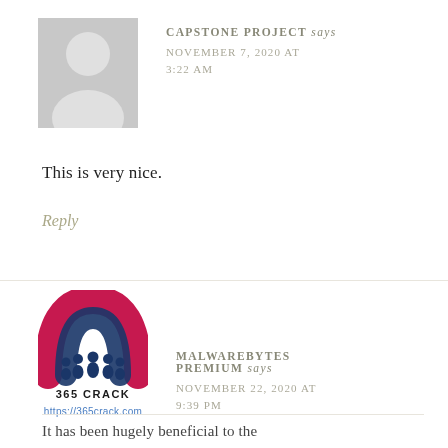[Figure (illustration): Gray default avatar silhouette of a person on a gray square background]
CAPSTONE PROJECT says
NOVEMBER 7, 2020 AT 3:22 AM
This is very nice.
Reply
[Figure (logo): 365 Crack logo with red/dark-blue arch and group of people silhouettes, text '365 CRACK' below]
https://365crack.com
MALWAREBYTES PREMIUM says
NOVEMBER 22, 2020 AT 9:39 PM
It has been hugely beneficial to the